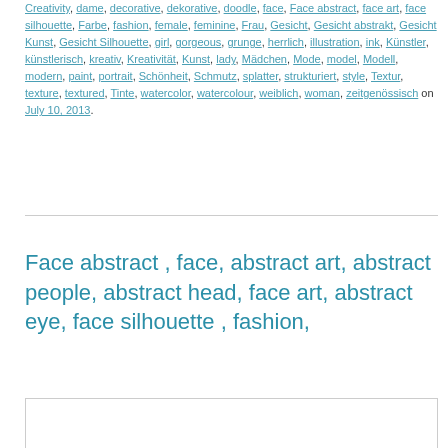Creativity, dame, decorative, dekorative, doodle, face, Face abstract, face art, face silhouette, Farbe, fashion, female, feminine, Frau, Gesicht, Gesicht abstrakt, Gesicht Kunst, Gesicht Silhouette, girl, gorgeous, grunge, herrlich, illustration, ink, Künstler, künstlerisch, kreativ, Kreativität, Kunst, lady, Mädchen, Mode, model, Modell, modern, paint, portrait, Schönheit, Schmutz, splatter, strukturiert, style, Textur, texture, textured, Tinte, watercolor, watercolour, weiblich, woman, zeitgenössisch on July 10, 2013.
Face abstract , face, abstract art, abstract people, abstract head, face art, abstract eye, face silhouette , fashion,